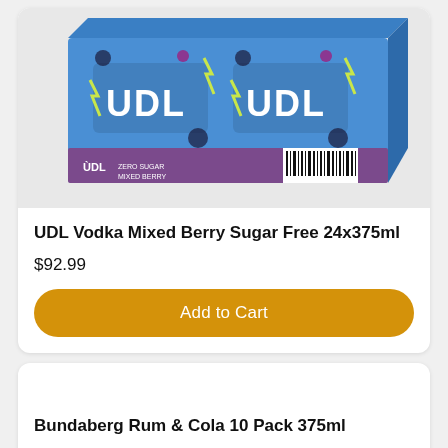[Figure (photo): UDL Vodka Mixed Berry Sugar Free 24x375ml product box — blue and purple packaging with UDL branding visible on top and front, with barcode on side]
UDL Vodka Mixed Berry Sugar Free 24x375ml
$92.99
Add to Cart
Bundaberg Rum & Cola 10 Pack 375ml
$44.99